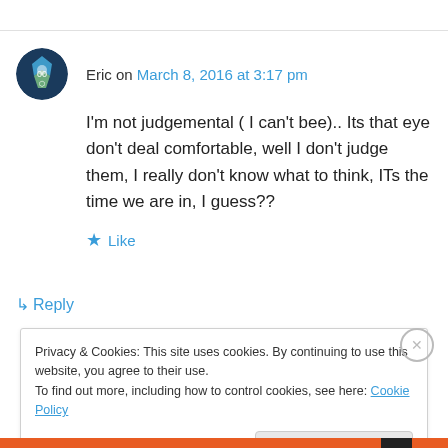Eric on March 8, 2016 at 3:17 pm
I'm not judgemental ( I can't bee).. Its that eye don't deal comfortable, well I don't judge them, I really don't know what to think, ITs the time we are in, I guess??
Like
Reply
Privacy & Cookies: This site uses cookies. By continuing to use this website, you agree to their use.
To find out more, including how to control cookies, see here: Cookie Policy
Close and accept